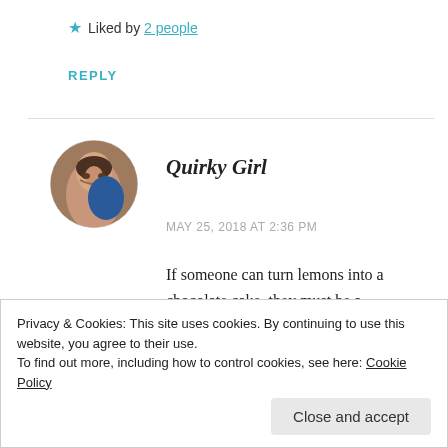★ Liked by 2 people
REPLY
[Figure (photo): Circular avatar photo of a woman smiling, with a blue object partially visible]
Quirky Girl
MAY 25, 2018 AT 2:36 PM
If someone can turn lemons into a chocolate cake, they must be a magician! But I do like the sentiment there. 😀
Privacy & Cookies: This site uses cookies. By continuing to use this website, you agree to their use.
To find out more, including how to control cookies, see here: Cookie Policy
Close and accept